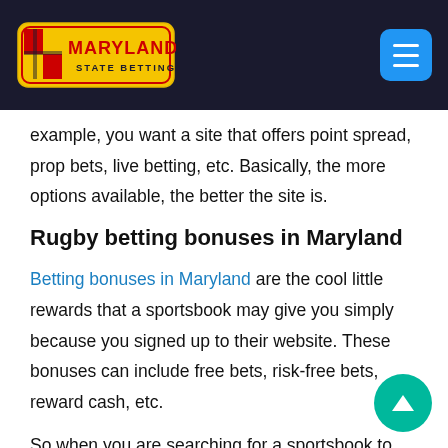Maryland State Betting
example, you want a site that offers point spread, prop bets, live betting, etc. Basically, the more options available, the better the site is.
Rugby betting bonuses in Maryland
Betting bonuses in Maryland are the cool little rewards that a sportsbook may give you simply because you signed up to their website. These bonuses can include free bets, risk-free bets, reward cash, etc.
So when you are searching for a sportsbook to gamble at, you will almost certainly want to shop around for the best bonuses available for you.